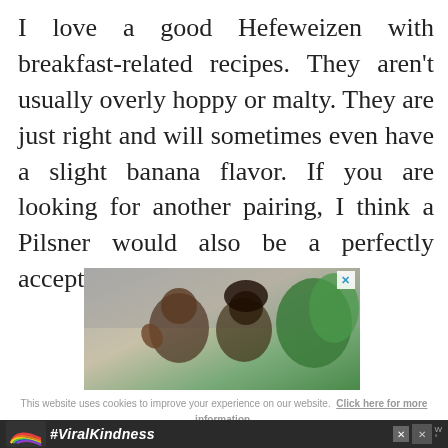I love a good Hefeweizen with breakfast-related recipes. They aren't usually overly hoppy or malty. They are just right and will sometimes even have a slight banana flavor. If you are looking for another pairing, I think a Pilsner would also be a perfectly acceptable option.
[Figure (photo): Advertisement photo showing two people (a man waving and a woman with curly hair) with green plant in background, with a close button (X) in top right corner]
This website uses cookies to improve your experience on our website. Click here for more information.
[Figure (infographic): Bottom advertisement banner with dark background showing a colorful rainbow icon and '#ViralKindness' text in white italic, with X close button and MW logo]